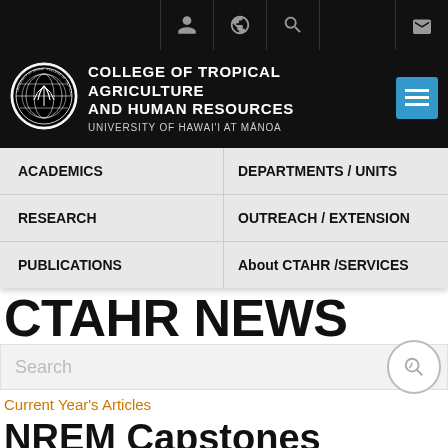College of Tropical Agriculture and Human Resources – University of Hawaiʻi at Mānoa – CTAHR website screenshot
ACADEMICS | DEPARTMENTS / UNITS | RESEARCH | OUTREACH / EXTENSION | PUBLICATIONS | About CTAHR /SERVICES
CTAHR NEWS
Search
Current Year's Articles
NREM Capstones